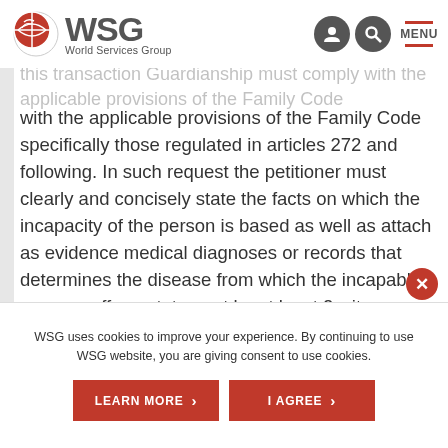WSG World Services Group
with the applicable provisions of the Family Code specifically those regulated in articles 272 and following. In such request the petitioner must clearly and concisely state the facts on which the incapacity of the person is based as well as attach as evidence medical diagnoses or records that determines the disease from which the incapable person suffers, statement by at least 2 witnesses who attest to the incapacity and at the same time the suitability of the applicant to be
WSG uses cookies to improve your experience. By continuing to use WSG website, you are giving consent to use cookies.